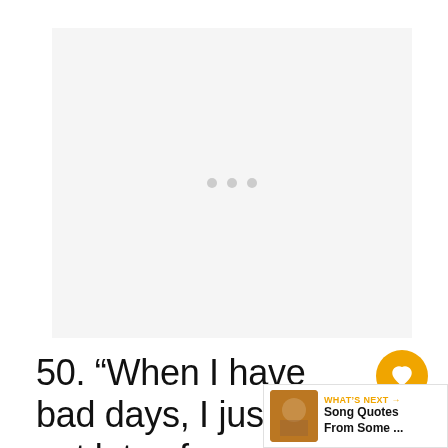[Figure (other): Gray placeholder ad area with three light gray dots centered, indicating loading or placeholder content]
50. “When I have bad days, I just eat lots of chocolate ice cream and dance to the ‘Lion King’ soundtrack. It’s really odd, but it’s